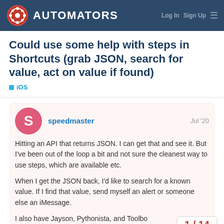AUTOMATORS
Could use some help with steps in Shortcuts (grab JSON, search for value, act on value if found)
iOS
speedmaster   Jul '20
Hitting an API that returns JSON. I can get that and see it. But I've been out of the loop a bit and not sure the cleanest way to use steps, which are available etc.

When I get the JSON back, I'd like to search for a known value. If I find that value, send myself an alert or someone else an iMessage.

I also have Jayson, Pythonista, and Toolbo...
1 / 14